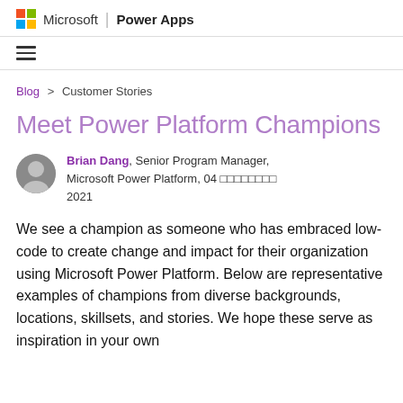Microsoft | Power Apps
[Figure (logo): Microsoft colorful four-square logo followed by 'Microsoft | Power Apps' header text]
Blog > Customer Stories
Meet Power Platform Champions
Brian Dang, Senior Program Manager, Microsoft Power Platform, 04 □□□□□□□□ 2021
We see a champion as someone who has embraced low-code to create change and impact for their organization using Microsoft Power Platform. Below are representative examples of champions from diverse backgrounds, locations, skillsets, and stories. We hope these serve as inspiration in your own